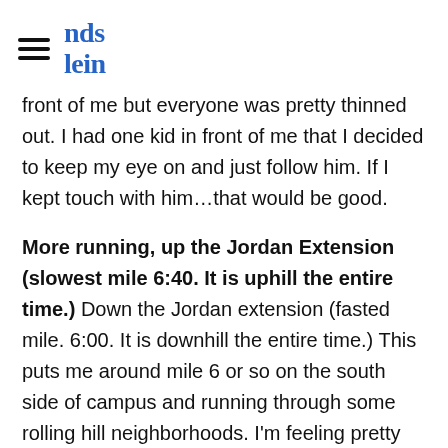nds
Tein
front of me but everyone was pretty thinned out. I had one kid in front of me that I decided to keep my eye on and just follow him. If I kept touch with him…that would be good.
More running, up the Jordan Extension (slowest mile 6:40. It is uphill the entire time.) Down the Jordan extension (fasted mile. 6:00. It is downhill the entire time.) This puts me around mile 6 or so on the south side of campus and running through some rolling hill neighborhoods. I'm feeling pretty good and keeping the kid in sight that I want to gauge my effort from. I'm slowly moving up the rankings so that is always fun to do. I keep taking